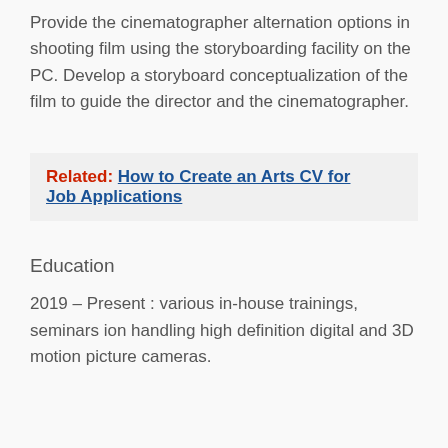Provide the cinematographer alternation options in shooting film using the storyboarding facility on the PC. Develop a storyboard conceptualization of the film to guide the director and the cinematographer.
Related:  How to Create an Arts CV for Job Applications
Education
2019 – Present : various in-house trainings, seminars ion handling high definition digital and 3D motion picture cameras.